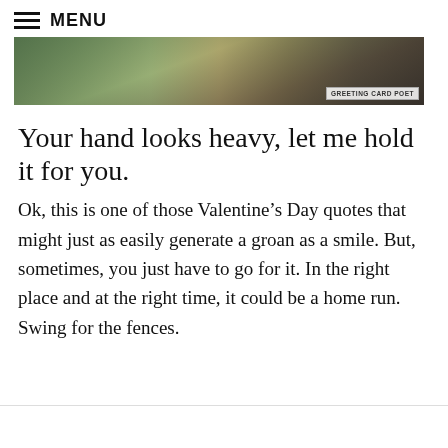MENU
[Figure (photo): A wide banner image showing a beach or coastal landscape scene with people silhouetted in the background. A watermark label reads 'GREETING CARD POET' in the bottom right corner.]
Your hand looks heavy, let me hold it for you.
Ok, this is one of those Valentine’s Day quotes that might just as easily generate a groan as a smile. But, sometimes, you just have to go for it. In the right place and at the right time, it could be a home run. Swing for the fences.